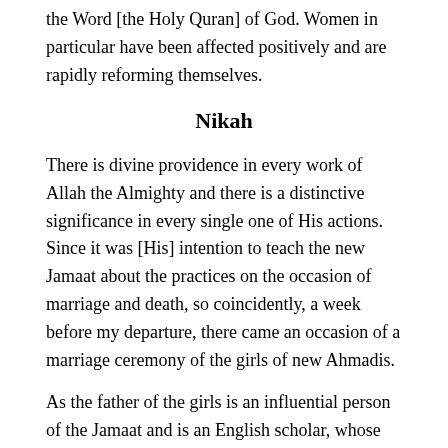the Word [the Holy Quran] of God. Women in particular have been affected positively and are rapidly reforming themselves.
Nikah
There is divine providence in every work of Allah the Almighty and there is a distinctive significance in every single one of His actions. Since it was [His] intention to teach the new Jamaat about the practices on the occasion of marriage and death, so coincidently, a week before my departure, there came an occasion of a marriage ceremony of the girls of new Ahmadis.
As the father of the girls is an influential person of the Jamaat and is an English scholar, whose name is also Durr-e-Sameen [precious pearl], he requested the chief imam that, “Our white alpha [i.e. Maulvi Abdur Rahim Sahib Nayyarʳᵃ] should announce the nikah of my girls.”